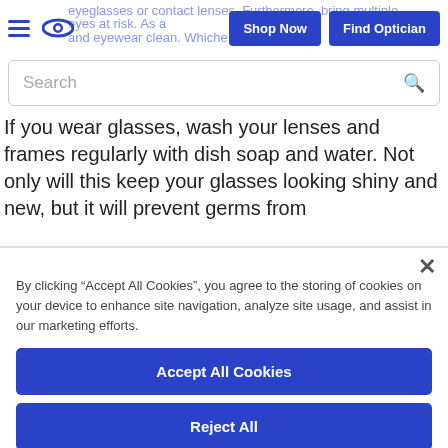eyeglasses or contact lenses. Furthermore, bring multiple eyes at risk. As a and eyewear clean. Whiche Shop Now | Find Optician
If you wear glasses, wash your lenses and frames regularly with dish soap and water. Not only will this keep your glasses looking shiny and new, but it will prevent germs from
By clicking “Accept All Cookies”, you agree to the storing of cookies on your device to enhance site navigation, analyze site usage, and assist in our marketing efforts.
Accept All Cookies
Reject All
Cookies Settings